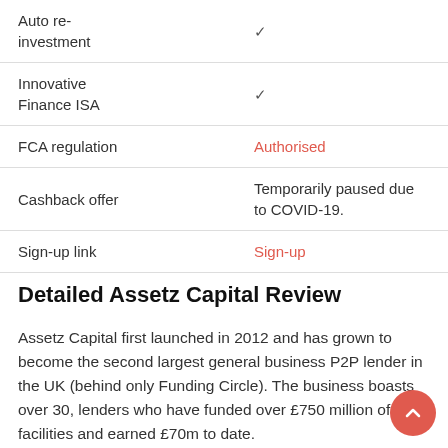| Feature | Value |
| --- | --- |
| Auto re-investment | ✓ |
| Innovative Finance ISA | ✓ |
| FCA regulation | Authorised |
| Cashback offer | Temporarily paused due to COVID-19. |
| Sign-up link | Sign-up |
Detailed Assetz Capital Review
Assetz Capital first launched in 2012 and has grown to become the second largest general business P2P lender in the UK (behind only Funding Circle). The business boasts over 30, lenders who have funded over £750 million of facilities and earned £70m to date.